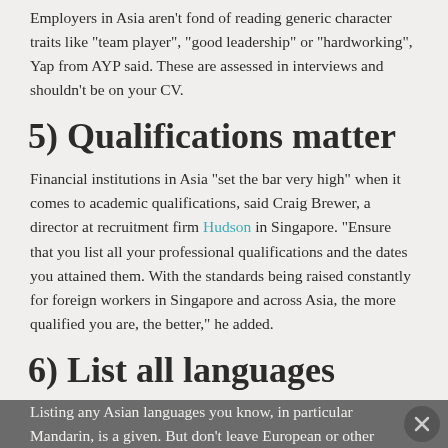Employers in Asia aren't fond of reading generic character traits like “team player”, “good leadership” or “hardworking”, Yap from AYP said. These are assessed in interviews and shouldn't be on your CV.
5) Qualifications matter
Financial institutions in Asia “set the bar very high” when it comes to academic qualifications, said Craig Brewer, a director at recruitment firm Hudson in Singapore. “Ensure that you list all your professional qualifications and the dates you attained them. With the standards being raised constantly for foreign workers in Singapore and across Asia, the more qualified you are, the better,” he added.
6) List all languages
Listing any Asian languages you know, in particular Mandarin, is a given. But don’t leave European or other